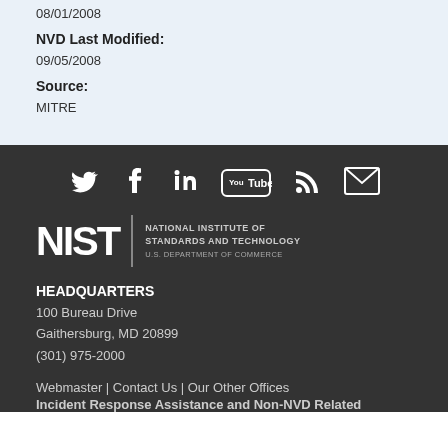08/01/2008
NVD Last Modified:
09/05/2008
Source:
MITRE
[Figure (infographic): Social media icons: Twitter, Facebook, LinkedIn, YouTube, RSS feed, Email]
[Figure (logo): NIST - National Institute of Standards and Technology, U.S. Department of Commerce]
HEADQUARTERS
100 Bureau Drive
Gaithersburg, MD 20899
(301) 975-2000
Webmaster | Contact Us | Our Other Offices
Incident Response Assistance and Non-NVD Related